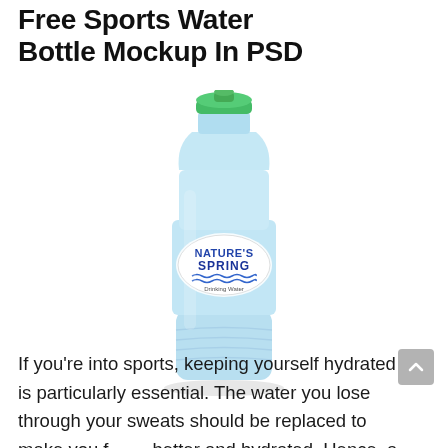Free Sports Water Bottle Mockup In PSD
[Figure (photo): A light blue sports water bottle with a green snap-open cap, featuring a 'Nature's Spring Drinking Water' label in blue and white, shown on a white background.]
If you're into sports, keeping yourself hydrated is particularly essential. The water you lose through your sweats should be replaced to make you feel better and hydrated. Hence, a sports water bottle